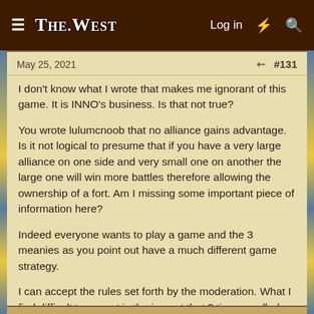THE WEST — Log in
May 25, 2021   #131
I don't know what I wrote that makes me ignorant of this game. It is INNO's business. Is that not true?

You wrote lulumcnoob that no alliance gains advantage. Is it not logical to presume that if you have a very large alliance on one side and very small one on another the large one will win more battles therefore allowing the ownership of a fort. Am I missing some important piece of information here?

Indeed everyone wants to play a game and the 3 meanies as you point out have a much different game strategy.

I can accept the rules set forth by the moderation. What I find difficult to accept is the impact that 3 tiny so called grief a be's have against ONE HUNDRED and FORTY players. Explain to me once again the concept of having to get out of bed and take back your silly little fort just ruins the whole game boo hoo ?
Last edited: May 25, 2021